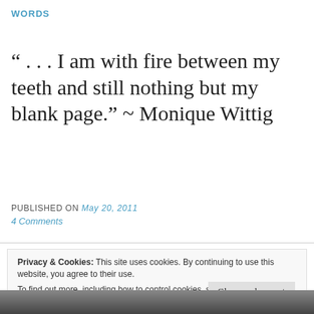WORDS
“… I am with fire between my teeth and still nothing but my blank page.” ~ Monique Wittig
PUBLISHED ON May 20, 2011
4 Comments
Privacy & Cookies: This site uses cookies. By continuing to use this website, you agree to their use.
To find out more, including how to control cookies, see here: Cookie Policy
[Figure (photo): Black and white photograph strip at the bottom of the page]